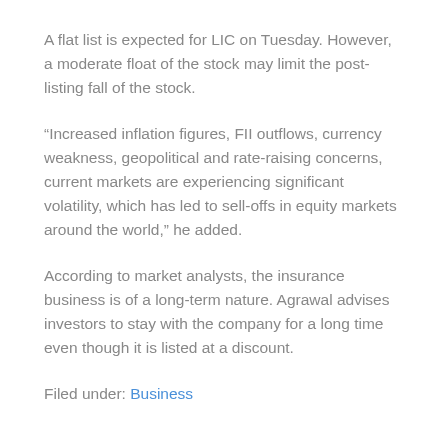A flat list is expected for LIC on Tuesday. However, a moderate float of the stock may limit the post-listing fall of the stock.
“Increased inflation figures, FII outflows, currency weakness, geopolitical and rate-raising concerns, current markets are experiencing significant volatility, which has led to sell-offs in equity markets around the world,” he added.
According to market analysts, the insurance business is of a long-term nature. Agrawal advises investors to stay with the company for a long time even though it is listed at a discount.
Filed under: Business